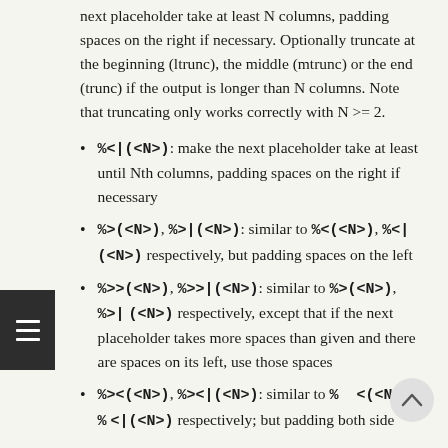next placeholder take at least N columns, padding spaces on the right if necessary. Optionally truncate at the beginning (ltrunc), the middle (mtrunc) or the end (trunc) if the output is longer than N columns. Note that truncating only works correctly with N >= 2.
%<|(<N>): make the next placeholder take at least until Nth columns, padding spaces on the right if necessary
%>(<N>), %>|(<N>): similar to %<(<N>), %<|(<N>) respectively, but padding spaces on the left
%>>(<N>), %>>|(<N>): similar to %>(<N>), %>|(<N>) respectively, except that if the next placeholder takes more spaces than given and there are spaces on its left, use those spaces
%><(<N>), %><|(<N>): similar to %  <(<N>), %<|(<N>) respectively, but padding both sides